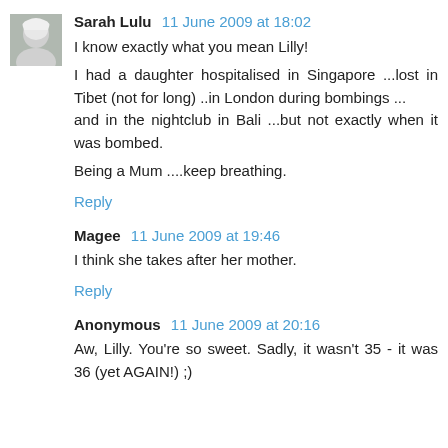[Figure (photo): Avatar photo of Sarah Lulu, a woman with grey/white hair]
Sarah Lulu 11 June 2009 at 18:02
I know exactly what you mean Lilly!

I had a daughter hospitalised in Singapore ...lost in Tibet (not for long) ..in London during bombings ...
and in the nightclub in Bali ...but not exactly when it was bombed.

Being a Mum ....keep breathing.
Reply
Magee 11 June 2009 at 19:46
I think she takes after her mother.
Reply
Anonymous 11 June 2009 at 20:16
Aw, Lilly. You're so sweet. Sadly, it wasn't 35 - it was 36 (yet AGAIN!) ;)